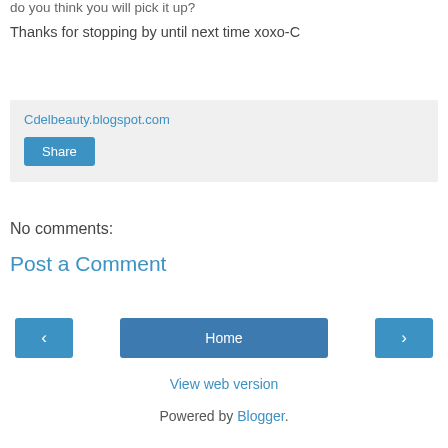do you think you will pick it up?
Thanks for stopping by until next time xoxo-C
Cdelbeauty.blogspot.com
Share
No comments:
Post a Comment
‹
Home
›
View web version
Powered by Blogger.